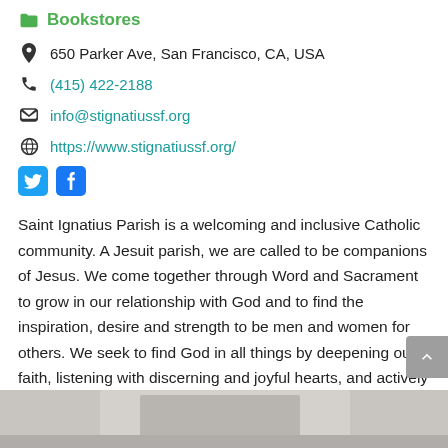Bookstores
650 Parker Ave, San Francisco, CA, USA
(415) 422-2188
info@stignatiussf.org
https://www.stignatiussf.org/
[Figure (other): Twitter and Facebook social media icon buttons]
Saint Ignatius Parish is a welcoming and inclusive Catholic community. A Jesuit parish, we are called to be companions of Jesus. We come together through Word and Sacrament to grow in our relationship with God and to find the inspiration, desire and strength to be men and women for others. We seek to find God in all things by deepening our faith, listening with discerning and joyful hearts, and actively serving the poor and suffering, all for the greater glory of God.
[Figure (photo): Partial view of a book or framed item at the bottom of the page]